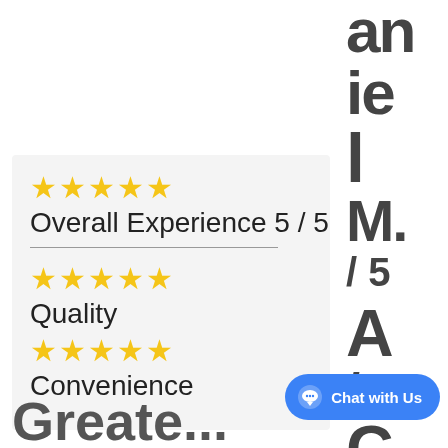[Figure (other): Partially visible bold vertical text on right side reading 'an ie l M.' then 'A / C t u n' — clipped right-side column text]
[Figure (infographic): Review card on light grey background showing: 5 gold stars, 'Overall Experience 5 / 5' with horizontal rule, then 5 gold stars with 'Quality', then 5 gold stars with 'Convenience']
Chat with Us
Greate...